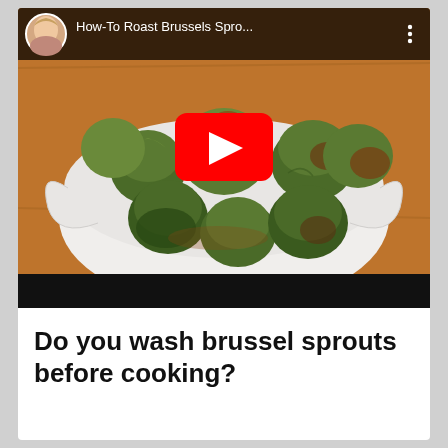[Figure (screenshot): YouTube video thumbnail showing roasted Brussels sprouts in a white bowl on a wooden surface, with a circular avatar of a woman in the top-left corner, video title 'How-To Roast Brussels Spro...' and a red YouTube play button overlay in the center.]
Do you wash brussel sprouts before cooking?